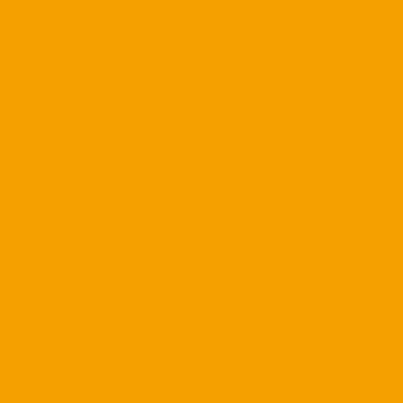Clarett says in a statement th... Ohio State" and that he does... to the football team or other s...
Clarett led the Buckeyes to th... college season. He pleaded g... carrying a concealed weapon... prison, where he took college...
Posted by: UMike | July 26, 2...
>>>>>
That's good to hear.
Posted by: Captain Optimist aka C...
[Figure (illustration): Green sunburst/radial pattern avatar image]
Thanks CGNC.
Posted by: DZ8 | July 27, 2010 at 0...
[Figure (photo): Dark photo avatar showing a person]
DZ just bust in to FLL. Usuall... accommodating.
Just grab a car and you are d...